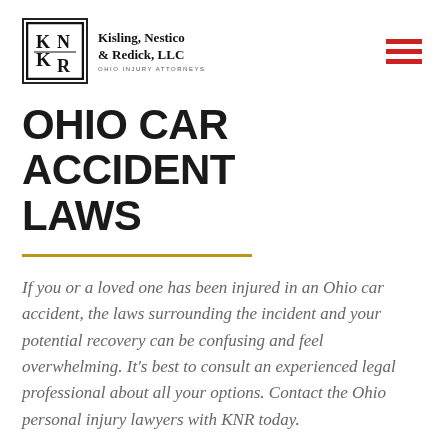Kisling, Nestico & Redick, LLC — OHIO INJURY ATTORNEYS
OHIO CAR ACCIDENT LAWS
If you or a loved one has been injured in an Ohio car accident, the laws surrounding the incident and your potential recovery can be confusing and feel overwhelming. It's best to consult an experienced legal professional about all your options. Contact the Ohio personal injury lawyers with KNR today.